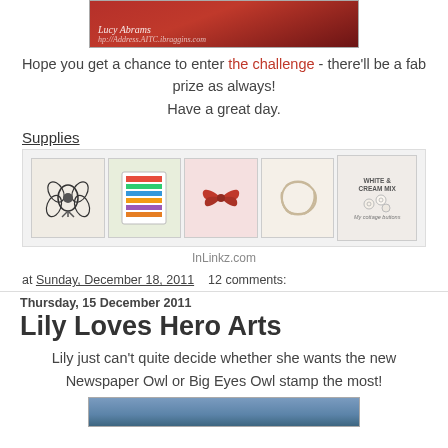[Figure (photo): A red gift box with a handwritten signature reading 'Lucy Abrams' in white italic script, partially visible at bottom]
Hope you get a chance to enter the challenge - there'll be a fab prize as always!
Have a great day.
Supplies
[Figure (photo): A row of five craft supply product images: a floral rubber stamp, a colorful paper/sticker pack, a red ribbon bow, a coil of natural twine, and a package of white & cream mix buttons by My cottage buttons]
InLinkz.com
at Sunday, December 18, 2011   12 comments:
Thursday, 15 December 2011
Lily Loves Hero Arts
Lily just can't quite decide whether she wants the new Newspaper Owl or Big Eyes Owl stamp the most!
[Figure (photo): Partial bottom image showing a craft/art scene, cut off at page bottom]